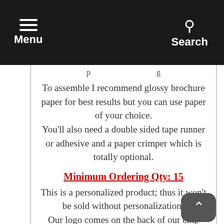Menu  Search
To assemble I recommend glossy brochure paper for best results but you can use paper of your choice.
You'll also need a double sided tape runner or adhesive and a paper crimper which is totally optional.
Minimum Ordering Qty: 15
This is a personalized product; thus it won't be sold without personalization!
Our logo comes on the back of our chip bags!
Creative Xpressions is not responsible fo